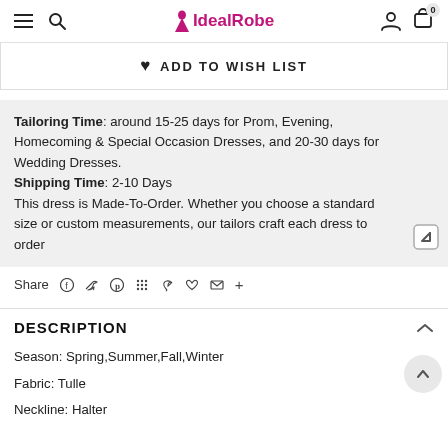IdealRobe — navigation bar with hamburger, search, logo, user, and cart icons
ADD TO WISH LIST
Tailoring Time: around 15-25 days for Prom, Evening, Homecoming & Special Occasion Dresses, and 20-30 days for Wedding Dresses. Shipping Time: 2-10 Days This dress is Made-To-Order. Whether you choose a standard size or custom measurements, our tailors craft each dress to order
Share
DESCRIPTION
Season: Spring,Summer,Fall,Winter
Fabric: Tulle
Neckline: Halter